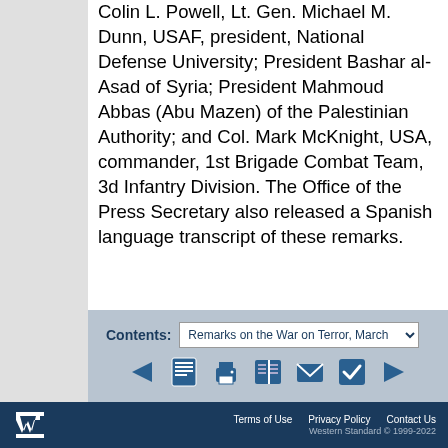Colin L. Powell, Lt. Gen. Michael M. Dunn, USAF, president, National Defense University; President Bashar al-Asad of Syria; President Mahmoud Abbas (Abu Mazen) of the Palestinian Authority; and Col. Mark McKnight, USA, commander, 1st Brigade Combat Team, 3d Infantry Division. The Office of the Press Secretary also released a Spanish language transcript of these remarks.
Contents: Remarks on the War on Terror, March
[Figure (other): Navigation icons: back arrow, contents/document icon, print icon, book icon, email/envelope icon, checkmark icon, forward arrow]
[Figure (logo): Western Standard logo - stylized W in white on dark blue background]
Terms of Use   Privacy Policy   Contact Us   Western Standard © 1999-2022